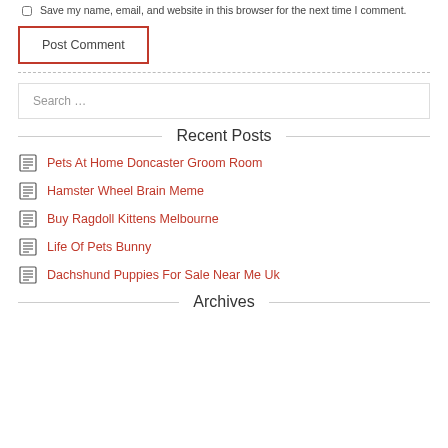Save my name, email, and website in this browser for the next time I comment.
Post Comment
Search …
Recent Posts
Pets At Home Doncaster Groom Room
Hamster Wheel Brain Meme
Buy Ragdoll Kittens Melbourne
Life Of Pets Bunny
Dachshund Puppies For Sale Near Me Uk
Archives